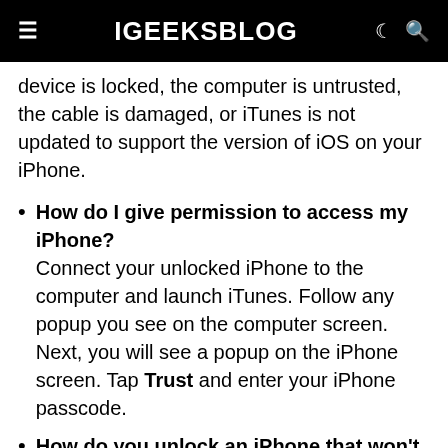iGEEKSBLOG
device is locked, the computer is untrusted, the cable is damaged, or iTunes is not updated to support the version of iOS on your iPhone.
How do I give permission to access my iPhone? Connect your unlocked iPhone to the computer and launch iTunes. Follow any popup you see on the computer screen. Next, you will see a popup on the iPhone screen. Tap Trust and enter your iPhone passcode.
How do you unlock an iPhone that won't connect to iTunes?